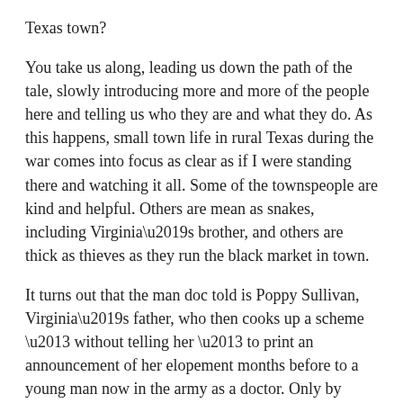Texas town?
You take us along, leading us down the path of the tale, slowly introducing more and more of the people here and telling us who they are and what they do. As this happens, small town life in rural Texas during the war comes into focus as clear as if I were standing there and watching it all. Some of the townspeople are kind and helpful. Others are mean as snakes, including Virginia’s brother, and others are thick as thieves as they run the black market in town.
It turns out that the man doc told is Poppy Sullivan, Virginia’s father, who then cooks up a scheme – without telling her – to print an announcement of her elopement months before to a young man now in the army as a doctor. Only by book’s end, Will still hasn’t learned he’s married as Virginia’s SOB brother – and the town’s postman, has kept all Will’s letters from his sister. It’s not all Bart does but like the other do-wrongers in town, comeuppance is just